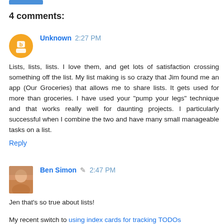4 comments:
Unknown 2:27 PM
Lists, lists, lists. I love them, and get lots of satisfaction crossing something off the list. My list making is so crazy that Jim found me an app (Our Groceries) that allows me to share lists. It gets used for more than groceries. I have used your "pump your legs" technique and that works really well for daunting projects. I particularly successful when I combine the two and have many small manageable tasks on a list.
Reply
Ben Simon 2:47 PM
Jen that's so true about lists!

My recent switch to using index cards for tracking TODOs underscores this. There's just something magical about